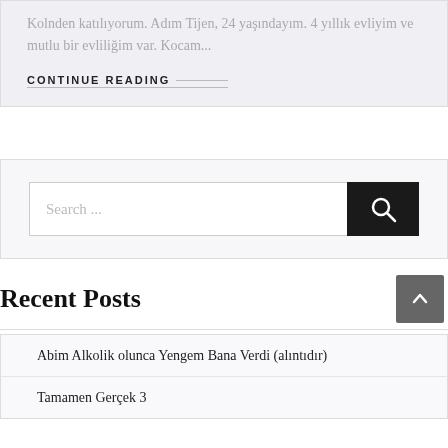Kolnden katılıyorum. Adım Tijen, 24 yaşındayım. 4 yıllık evliyim ve mutlu bir evliliğim var. Kocam...
CONTINUE READING
[Figure (other): Search box widget with text input placeholder 'Search ...' and a dark search button with magnifying glass icon]
Recent Posts
Abim Alkolik olunca Yengem Bana Verdi (alıntıdır)
Tamamen Gerçek 3